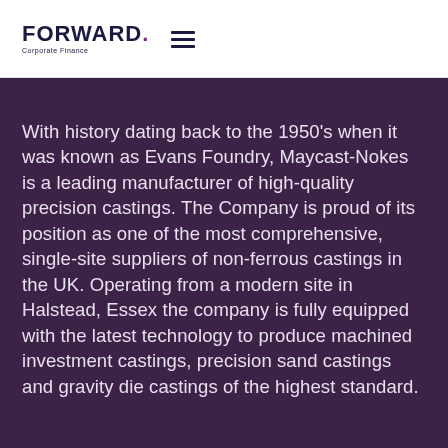FORWARD. Corporate Finance
With history dating back to the 1950's when it was known as Evans Foundry, Maycast-Nokes is a leading manufacturer of high-quality precision castings. The Company is proud of its position as one of the most comprehensive, single-site suppliers of non-ferrous castings in the UK. Operating from a modern site in Halstead, Essex the company is fully equipped with the latest technology to produce machined investment castings, precision sand castings and gravity die castings of the highest standard.